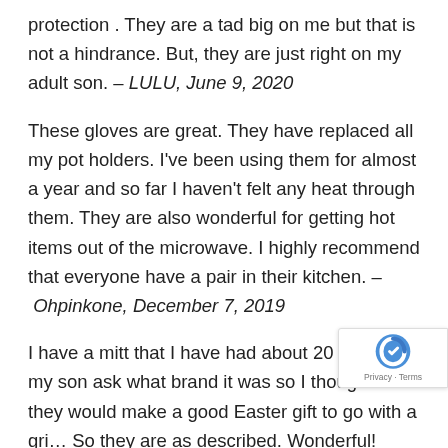protection . They are a tad big on me but that is not a hindrance. But, they are just right on my adult son. – LULU, June 9, 2020
These gloves are great. They have replaced all my pot holders. I've been using them for almost a year and so far I haven't felt any heat through them. They are also wonderful for getting hot items out of the microwave. I highly recommend that everyone have a pair in their kitchen. – Ohpinkone, December 7, 2019
I have a mitt that I have had about 20 years and my son ask what brand it was so I thought that they would make a good Easter gift to go with a gri… So they are as described. Wonderful! Thick, fle… and protect from heat. – Melissa, April 15, 2020